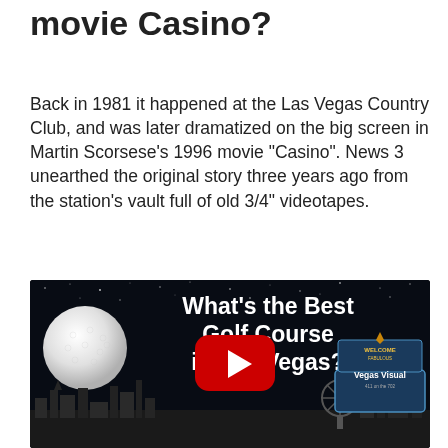movie Casino?
Back in 1981 it happened at the Las Vegas Country Club, and was later dramatized on the big screen in Martin Scorsese’s 1996 movie “Casino”. News 3 unearthed the original story three years ago from the station’s vault full of old 3/4” videotapes.
[Figure (screenshot): YouTube video thumbnail with title 'What's the Best Golf Course in Las Vegas?' on a dark starry background, featuring a golf ball on a tee, a YouTube play button, Las Vegas skyline silhouette, and Vegas Visual logo/sign in the bottom right.]